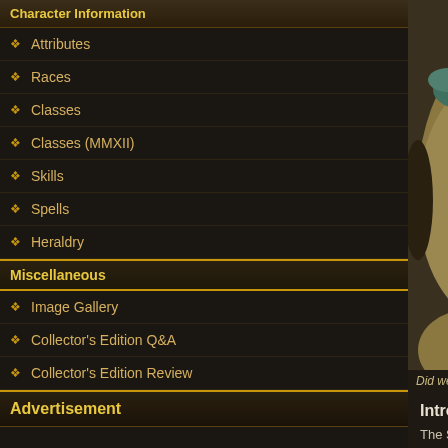Character Information
Attributes
Races
Classes
Classes (MMXII)
Skills
Spells
Heraldry
Miscellaneous
Image Gallery
Collector's Edition Q&A
Collector's Edition Review
Advertisement
[Figure (map): Game world map with numbered marker 5 visible, showing terrain with water, land, and settlements]
Did we miss anything in
Introduction
The Sisterhood is a sub-guild that is only ava... Dungeon Lords. Because the Sisterhood is a... full guild, joining the guild won't lock you into... can simply use the Sisterhood to give your ch...